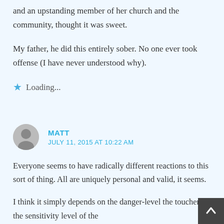and an upstanding member of her church and the community, thought it was sweet.
My father, he did this entirely sober. No one ever took offense (I have never understood why).
Loading...
MATT
JULY 11, 2015 AT 10:22 AM
Everyone seems to have radically different reactions to this sort of thing. All are uniquely personal and valid, it seems.
I think it simply depends on the danger-level the toucher and the sensitivity level of the